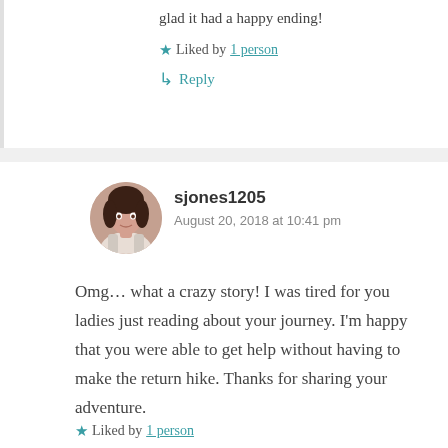glad it had a happy ending!
Liked by 1 person
Reply
sjones1205
August 20, 2018 at 10:41 pm
Omg… what a crazy story! I was tired for you ladies just reading about your journey. I'm happy that you were able to get help without having to make the return hike. Thanks for sharing your adventure.
Liked by 1 person